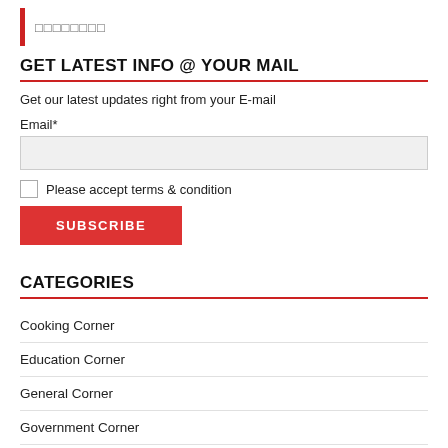□□□□□□□□
GET LATEST INFO @ YOUR MAIL
Get our latest updates right from your E-mail
Email*
Please accept terms & condition
SUBSCRIBE
CATEGORIES
Cooking Corner
Education Corner
General Corner
Government Corner